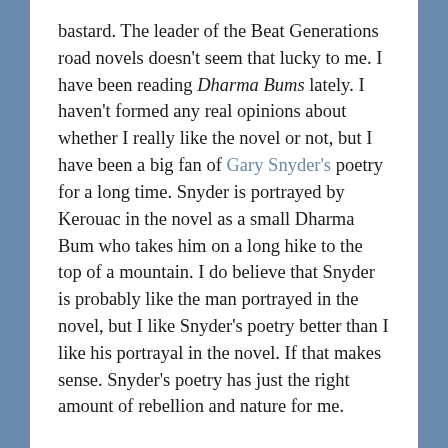bastard. The leader of the Beat Generations road novels doesn't seem that lucky to me. I have been reading Dharma Bums lately. I haven't formed any real opinions about whether I really like the novel or not, but I have been a big fan of Gary Snyder's poetry for a long time. Snyder is portrayed by Kerouac in the novel as a small Dharma Bum who takes him on a long hike to the top of a mountain. I do believe that Snyder is probably like the man portrayed in the novel, but I like Snyder's poetry better than I like his portrayal in the novel. If that makes sense. Snyder's poetry has just the right amount of rebellion and nature for me.
I wrote a letter to Snyder at one point in my life. I never sent the letter. I am not one for too many overt hero worshipping moments, but I thought